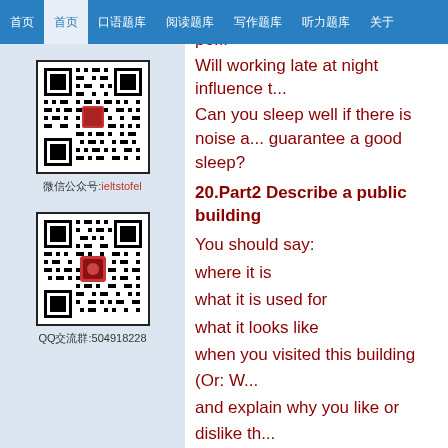首页 / 首页 / 口语题库 / 阅读题库 / 写作题库 / 听力题库 / 关于
Who usually get up early; young pe... Will working late at night influence t...
Can you sleep well if there is noise a... guarantee a good sleep?
20.Part2 Describe a public building
You should say:
where it is
what it is used for
what it looks like
when you visited this building (Or: W...
and explain why you like or dislike th...
Part3 Do you think the appearance o... consider in planning the construction... responsible for conserving old buildi...
Part 2 Describe a time when you sh...
You should say:
What you shared
[Figure (other): QR code for WeChat account ieltstofel]
微信公众号:ieltstofel
[Figure (other): QR code for QQ group 504918228]
QQ交流群:504918228